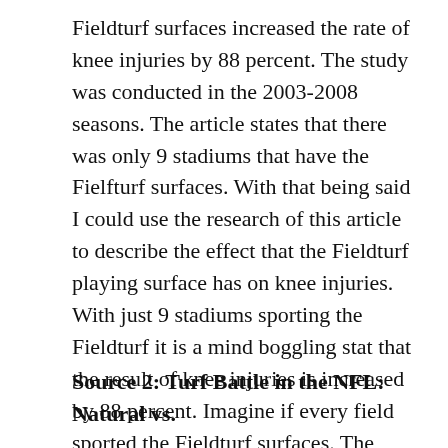Fieldturf surfaces increased the rate of knee injuries by 88 percent. The study was conducted in the 2003-2008 seasons. The article states that there was only 9 stadiums that have the Fielfturf surfaces. With that being said I could use the research of this article to describe the effect that the Fieldturf playing surface has on knee injuries. With just 9 stadiums sporting the Fieldturf it is a mind boggling stat that the result of knee injuries is increased by 88 percent. Imagine if every field sported the Fieldturf surfaces. The chances of a major knee injury every game would be very high.
Source 2: Turf Battle in the NFL: Natural vs.